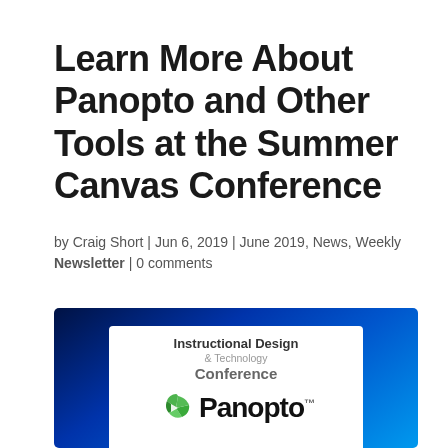Learn More About Panopto and Other Tools at the Summer Canvas Conference
by Craig Short | Jun 6, 2019 | June 2019, News, Weekly Newsletter | 0 comments
[Figure (photo): Promotional image showing the Instructional Design & Technology Conference banner with the Panopto logo on a blue gradient background]